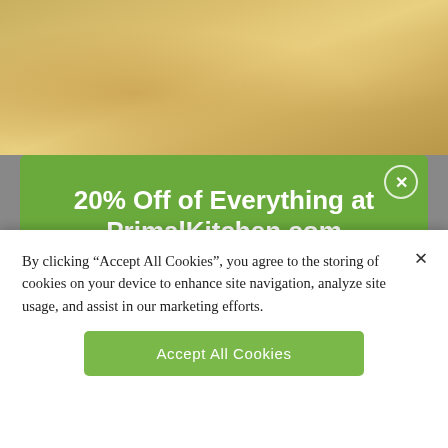[Figure (photo): Food photo showing cooked egg or chicken dish with yellow/golden tones]
20% Off of Everything at PrimalKitchen.com
Subscribe to our emails to get the best curated content delivered to your inbox, special promos, and exclusive content you can't read anywhere else.
Enter your email address
By clicking “Accept All Cookies”, you agree to the storing of cookies on your device to enhance site navigation, analyze site usage, and assist in our marketing efforts.
Accept All Cookies